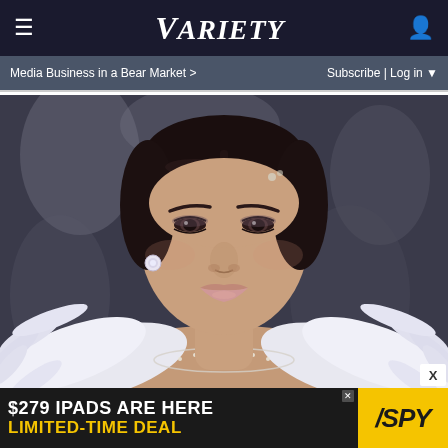VARIETY — Media Business in a Bear Market > | Subscribe | Log in
[Figure (photo): Close-up portrait of a young woman with dark hair pulled back, wearing diamond earrings and a white feathered dress with rhinestone embellishments, photographed at what appears to be a formal event or gala]
[Figure (infographic): Advertisement banner: '$279 IPADS ARE HERE / LIMITED-TIME DEAL' with SPY logo on yellow background]